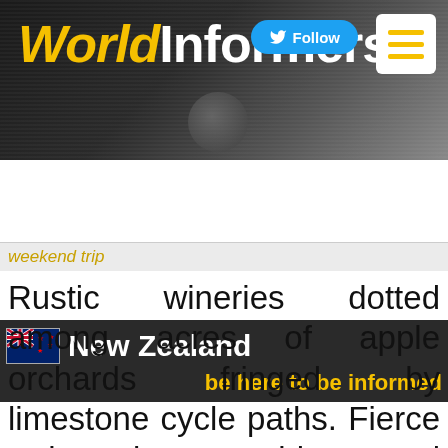WorldInformers
New Zealand — be here to be informed
weekend trip
Rustic wineries dotted among acres of apple orchards fringed by limestone cycle paths. Fierce red sunrises on wide coastal horizons and whimsical, world-famous art deco buildings.